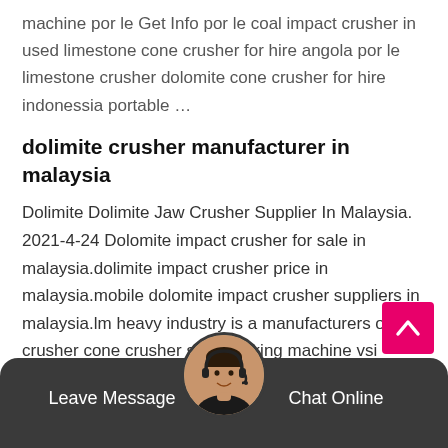machine por le Get Info por le coal impact crusher in used limestone cone crusher for hire angola por le limestone crusher dolomite cone crusher for hire indonessia portable …
dolimite crusher manufacturer in malaysia
Dolimite Dolimite Jaw Crusher Supplier In Malaysia. 2021-4-24 Dolomite impact crusher for sale in malaysia.dolimite impact crusher price in malaysia.mobile dolomite impact crusher suppliers in malaysia.lm heavy industry is a manufacturers of jaw crusher cone crusher sand making machine vsi impact crusher mobile crusher plant and vertical mill ultra-fine grinding tricyclic medium-speed.
coal por le crusher repair in indonessia
coal Mobile crusher Repair in indonessia. Coal por le crusher repair in indonessia coal jaw crusher repair in indonessia